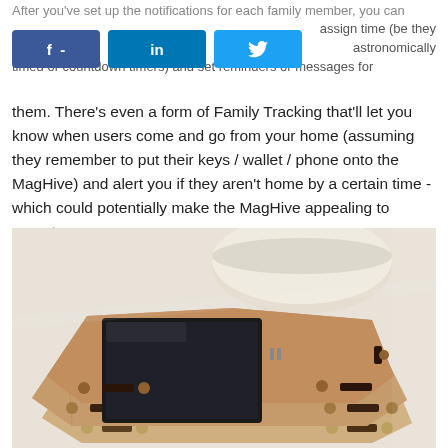After you've set up the notifications for each family member, you can assign time (be they astronomically timed or countdown timers) and set reminders or messages for them.
There's even a form of Family Tracking that'll let you know when users come and go from your home (assuming they remember to put their keys / wallet / phone onto the MagHive) and alert you if they aren't home by a certain time - which could potentially make the MagHive appealing to parents.
[Figure (photo): Two hexagonal wooden MagHive devices stacked on top of each other on a white surface, with a round white container in the background. The top device has a small touchscreen display. Both devices have magnetic connectors and LED dots on their sides.]